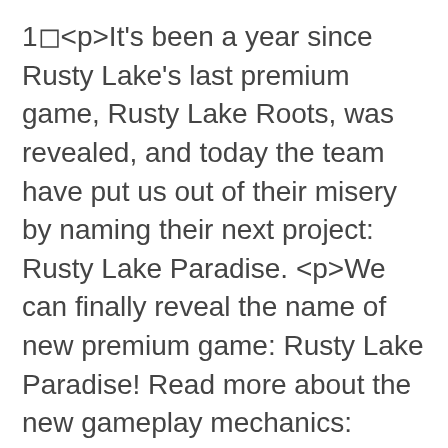1⬜<p>It's been a year since Rusty Lake's last premium game, Rusty Lake Roots, was revealed, and today the team have put us out of their misery by naming their next project: Rusty Lake Paradise. <p>We can finally reveal the name of new premium game: Rusty Lake Paradise! Read more about the new gameplay mechanics: https://t.co/f2uQWC6shq pic.twitter.com/w0UGpTUcGb— Rusty Lake (@rustylakecom) August 14, 2017 The Rusty Lake games are stylish point and click puzzlers with a bit of a darker side to them. Unlike the free to play Cube Escape series, the premium titles tend to be more detailed with a finer story, and it looks like Paradise will be the finest one yet.</p><p>Paradise is set on a small island in the 18th century.